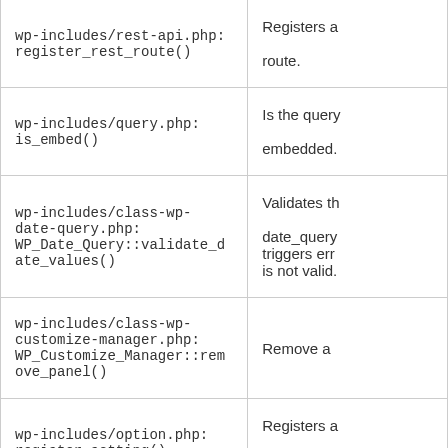| Function | Description |
| --- | --- |
| wp-includes/rest-api.php: register_rest_route() | Registers a route. |
| wp-includes/query.php: is_embed() | Is the query embedded. |
| wp-includes/class-wp-date-query.php: WP_Date_Query::validate_date_values() | Validates the date_query triggers err is not valid. |
| wp-includes/class-wp-customize-manager.php: WP_Customize_Manager::remove_panel() | Remove a |
| wp-includes/option.php: register_setting() | Registers a data. |
| wp-admin/includes/plugin.php: add_submenu_page() | Add a subm |